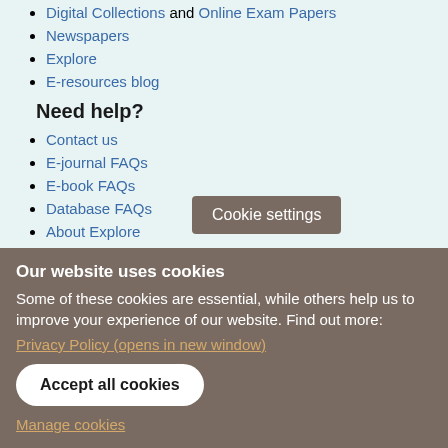Digital Collections and Online Exam Papers
Newspapers
Explore
E-resources blog
Need help?
Contact us
E-journal FAQs
E-book FAQs
Database FAQs
About Explore
Cookie settings
Our website uses cookies
Some of these cookies are essential, while others help us to improve your experience of our website. Find out more:
Privacy Policy (opens in new window)
Accept all cookies
Manage cookies